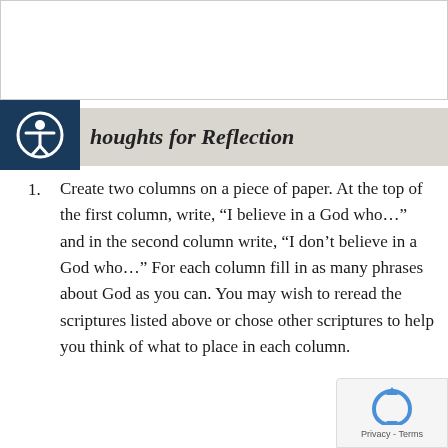Thoughts for Reflection
Create two columns on a piece of paper. At the top of the first column, write, “I believe in a God who…” and in the second column write, “I don’t believe in a God who…” For each column fill in as many phrases about God as you can. You may wish to reread the scriptures listed above or chose other scriptures to help you think of what to place in each column.